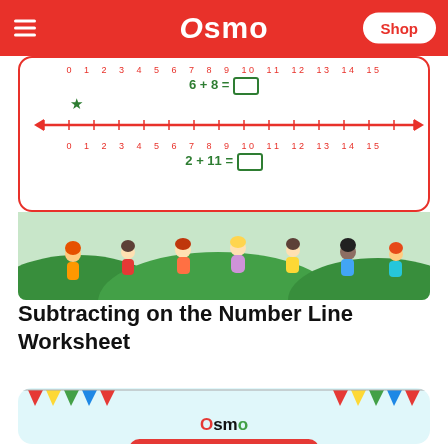Osmo | Shop
[Figure (illustration): Worksheet card showing number line 0-15 with equations 6+8=[] and 2+11=[], with a green star marker and red arrow number line. Below is a colorful illustration of children playing on green hills.]
Subtracting on the Number Line Worksheet
[Figure (illustration): Osmo branded card with light blue background, colorful bunting flags, Osmo logo, red pill button labeled NUMBER LINE FOR KIDS, red text saying Solve the problem using number lines, and beginning of a number line with a green star.]